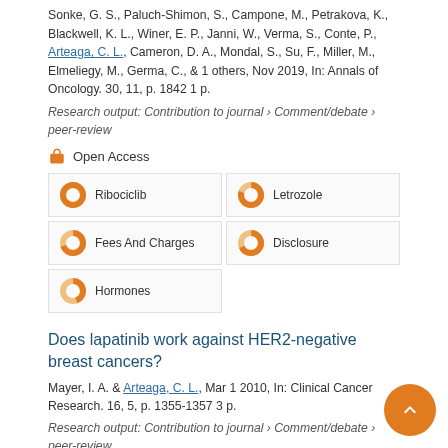Sonke, G. S., Paluch-Shimon, S., Campone, M., Petrakova, K., Blackwell, K. L., Winer, E. P., Janni, W., Verma, S., Conte, P., Arteaga, C. L., Cameron, D. A., Mondal, S., Su, F., Miller, M., Elmeliegy, M., Germa, C., & 1 others, Nov 2019, In: Annals of Oncology. 30, 11, p. 1842 1 p.
Research output: Contribution to journal › Comment/debate › peer-review
Open Access
Ribociclib
Letrozole
Fees And Charges
Disclosure
Hormones
Does lapatinib work against HER2-negative breast cancers?
Mayer, I. A. & Arteaga, C. L., Mar 1 2010, In: Clinical Cancer Research. 16, 5, p. 1355-1357 3 p.
Research output: Contribution to journal › Comment/debate › peer-review